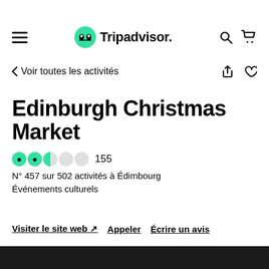Tripadvisor
< Voir toutes les activités
Edinburgh Christmas Market
●●◐○○  155
N° 457 sur 502 activités à Édimbourg
Événements culturels
Visiter le site web ↗   Appeler   Écrire un avis